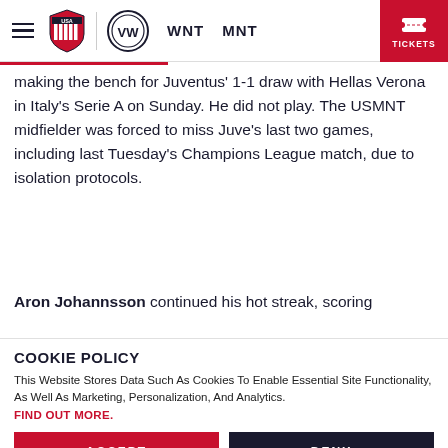USA Soccer | WNT | MNT | TICKETS
making the bench for Juventus' 1-1 draw with Hellas Verona in Italy's Serie A on Sunday. He did not play. The USMNT midfielder was forced to miss Juve's last two games, including last Tuesday's Champions League match, due to isolation protocols.
Aron Johannsson continued his hot streak, scoring
COOKIE POLICY
This Website Stores Data Such As Cookies To Enable Essential Site Functionality, As Well As Marketing, Personalization, And Analytics. FIND OUT MORE.
ACCEPT | DENY